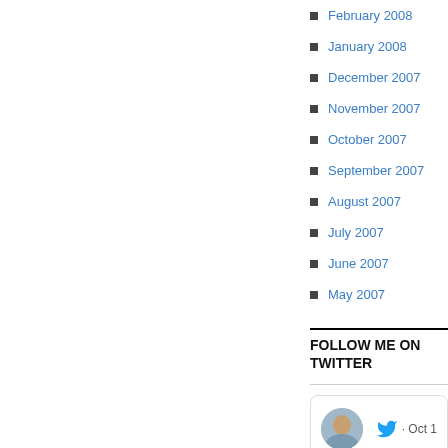February 2008
January 2008
December 2007
November 2007
October 2007
September 2007
August 2007
July 2007
June 2007
May 2007
FOLLOW ME ON TWITTER
My wife of almost 67 years died